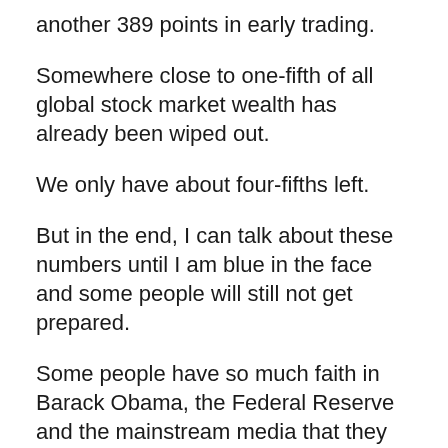another 389 points in early trading.
Somewhere close to one-fifth of all global stock market wealth has already been wiped out.
We only have about four-fifths left.
But in the end, I can talk about these numbers until I am blue in the face and some people will still not get prepared.
Some people have so much faith in Barack Obama, the Federal Reserve and the mainstream media that they would literally follow them off a cliff.
By now, most of the people that believe that they should prepare for the coming crisis have